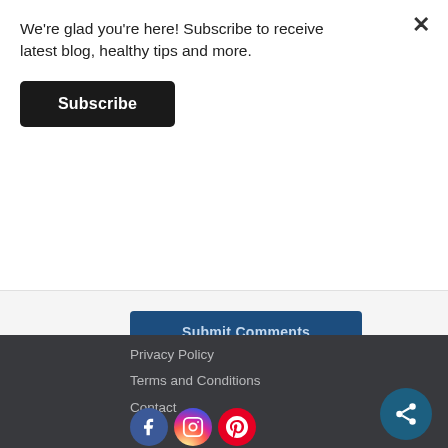We're glad you're here! Subscribe to receive latest blog, healthy tips and more.
Subscribe
Submit Comments
Privacy Policy
Terms and Conditions
Contact
[Figure (infographic): Social media icons row: Facebook, Instagram, Pinterest circles]
[Figure (infographic): Share button circle with share icon]